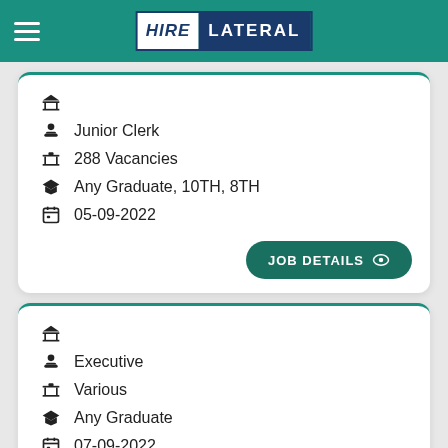HIRE LATERAL
Junior Clerk · 288 Vacancies · Any Graduate, 10TH, 8TH · 05-09-2022
Executive · Various · Any Graduate · 07-09-2022